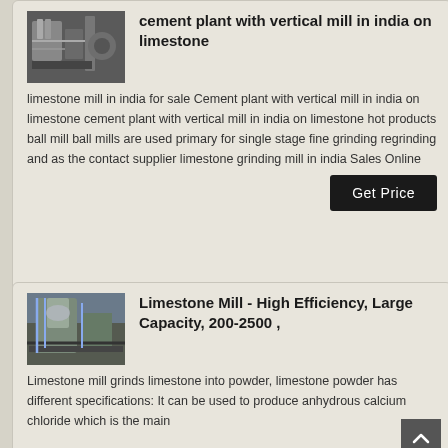[Figure (photo): Photo of industrial cement/mill equipment, pipes and machinery]
cement plant with vertical mill in india on limestone
limestone mill in india for sale Cement plant with vertical mill in india on limestone cement plant with vertical mill in india on limestone hot products ball mill ball mills are used primary for single stage fine grinding regrinding and as the contact supplier limestone grinding mill in india Sales Online
[Figure (photo): Photo of large industrial limestone mill equipment outdoors]
Limestone Mill - High Efficiency, Large Capacity, 200-2500 ,
Limestone mill grinds limestone into powder, limestone powder has different specifications: It can be used to produce anhydrous calcium chloride which is the main